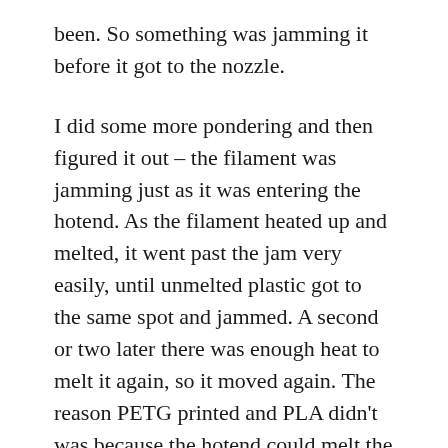been. So something was jamming it before it got to the nozzle.
I did some more pondering and then figured it out – the filament was jamming just as it was entering the hotend. As the filament heated up and melted, it went past the jam very easily, until unmelted plastic got to the same spot and jammed. A second or two later there was enough heat to melt it again, so it moved again. The reason PETG printed and PLA didn't was because the hotend could melt the filament back far enough at the low print speed of the PETG to keep it moving, but with PLA there was too much cold filament too quickly.